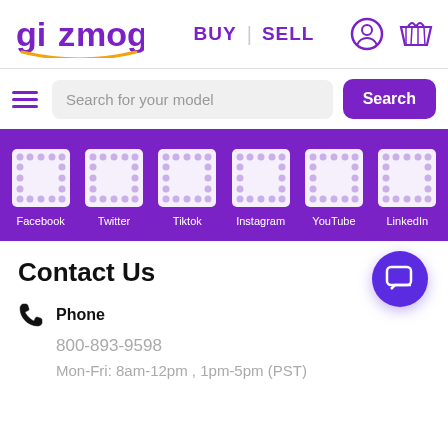[Figure (logo): Gizmogo logo with purple text and orange arc underline]
BUY | SELL
[Figure (screenshot): Search bar with hamburger menu, search input placeholder 'Search for your model', and purple Search button]
[Figure (infographic): Purple social media bar with QR code placeholders and labels: Facebook, Twitter, Tiktok, Instagram, YouTube, LinkedIn]
Contact Us
Phone
800-893-9598
Mon-Fri: 8am-12pm , 1pm-5pm (PST)